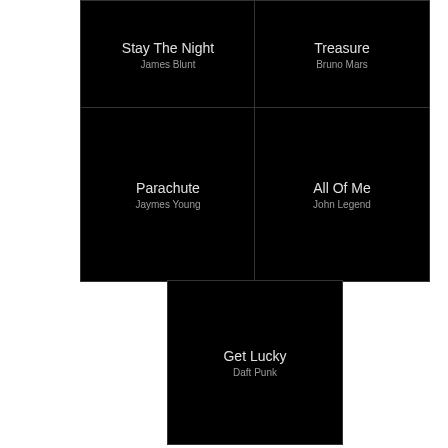[Figure (other): Music app grid showing song tiles: Stay The Night by James Blunt, Treasure by Bruno Mars, Parachute by Jaymes Young, All Of Me by John Legend, Get Lucky by Daft Punk]
Stay The Night
James Blunt
Treasure
Bruno Mars
Parachute
Jaymes Young
All Of Me
John Legend
Get Lucky
Daft Punk